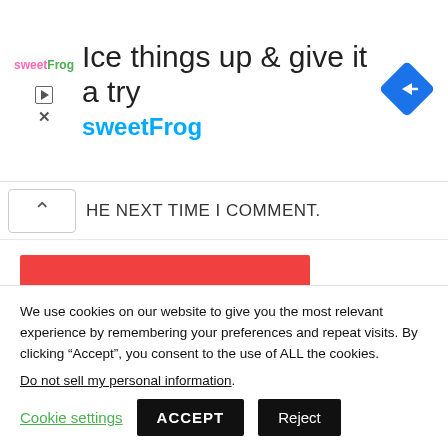[Figure (screenshot): sweetFrog advertisement banner with logo, headline 'Ice things up & give it a try', brand name 'sweetFrog', and a blue navigation/directions diamond icon]
HE NEXT TIME I COMMENT.
POST COMMENT
Search ...
SEARCH
We use cookies on our website to give you the most relevant experience by remembering your preferences and repeat visits. By clicking “Accept”, you consent to the use of ALL the cookies.
Do not sell my personal information.
Cookie settings
ACCEPT
Reject